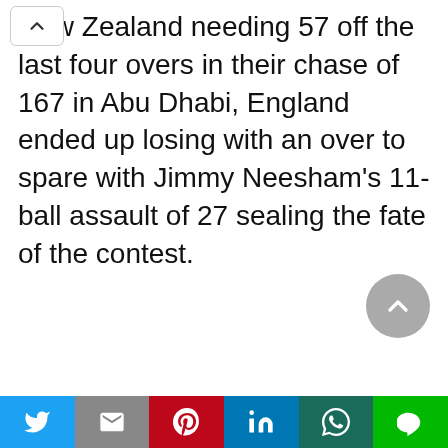New Zealand needing 57 off the last four overs in their chase of 167 in Abu Dhabi, England ended up losing with an over to spare with Jimmy Neesham's 11-ball assault of 27 sealing the fate of the contest.
Share buttons: Twitter, Gmail, Pinterest, LinkedIn, WhatsApp, LINE